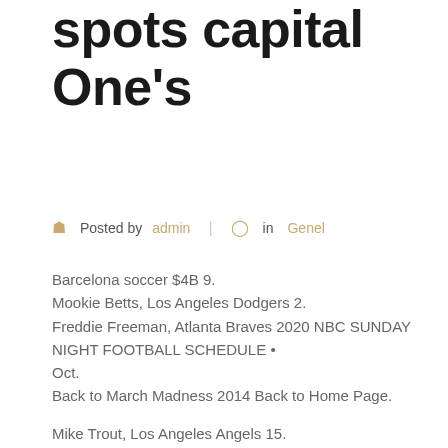spots capital One's
Posted by admin | in Genel
Barcelona soccer $4B 9.
Mookie Betts, Los Angeles Dodgers 2.
Freddie Freeman, Atlanta Braves 2020 NBC SUNDAY NIGHT FOOTBALL SCHEDULE • Oct.
Back to March Madness 2014 Back to Home Page.

Mike Trout, Los Angeles Angels 15.
Real Madrid soccer $4B 7.
Barcelona soccer $4B 9.
Kirk Cousins $60 million $58 million $2